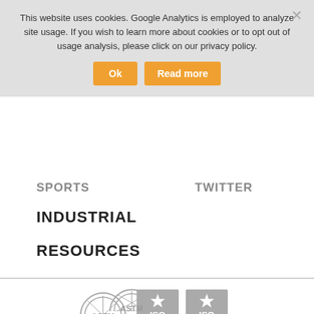This website uses cookies. Google Analytics is employed to analyze site usage. If you wish to learn more about cookies or to opt out of usage analysis, please click on our privacy policy.
Ok
Read more
SPORTS
TWITTER
INDUSTRIAL
RESOURCES
[Figure (logo): ASTM International Organizational Member logo (grey)]
[Figure (logo): ISO 14001 Certified logo (grey star badge)]
[Figure (logo): ISO 9001 Certified logo (grey star badge)]
[Figure (logo): ASTM International logo partial (grey, bottom of page)]